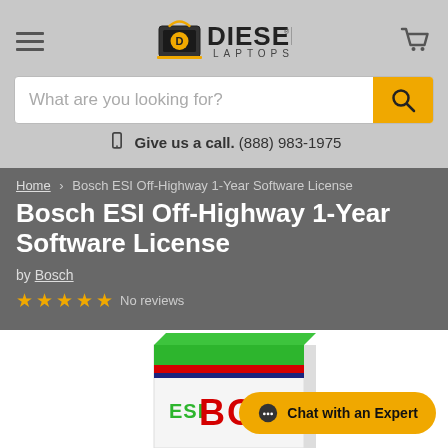Diesel Laptops — navigation and search header
What are you looking for?
Give us a call. (888) 983-1975
Home > Bosch ESI Off-Highway 1-Year Software License
Bosch ESI Off-Highway 1-Year Software License
by Bosch
No reviews
[Figure (photo): Partial view of Bosch ESI Off-Highway software box with green top stripe and red BOSCH text on white box]
Chat with an Expert